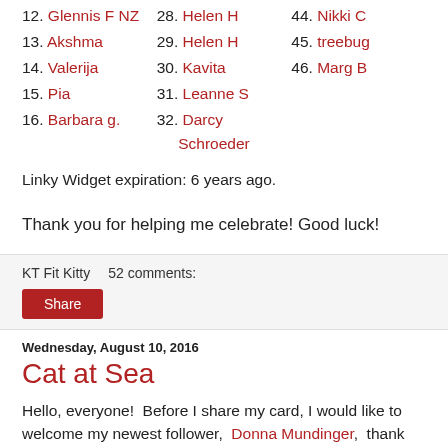12. Glennis F NZ
13. Akshma
14. Valerija
15. Pia
16. Barbara g.
28. Helen H
29. Helen H
30. Kavita
31. Leanne S
32. Darcy Schroeder
44. Nikki C
45. treebug
46. Marg B
Linky Widget expiration: 6 years ago.
Thank you for helping me celebrate! Good luck!
KT Fit Kitty     52 comments:
Share
Wednesday, August 10, 2016
Cat at Sea
Hello, everyone!  Before I share my card, I would like to welcome my newest follower,  Donna Mundinger,  thank you